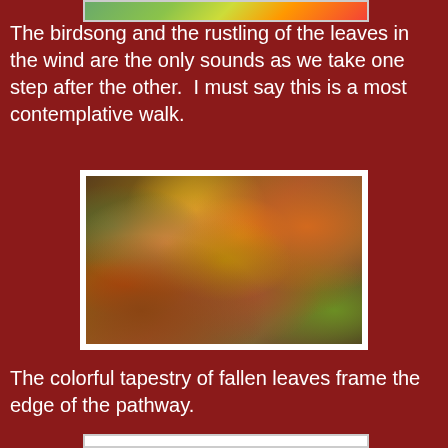[Figure (photo): Partial view of a photo at the top of the page, cropped — appears to show an outdoor forest or nature scene]
The birdsong and the rustling of the leaves in the wind are the only sounds as we take one step after the other.  I must say this is a most contemplative walk.
[Figure (photo): A photograph of colorful fallen autumn leaves covering the ground along the edge of a pathway, with various shades of orange, brown, red, yellow and green visible]
The colorful tapestry of fallen leaves frame the edge of the pathway.
[Figure (photo): Partial view of a photo at the bottom of the page, cropped]